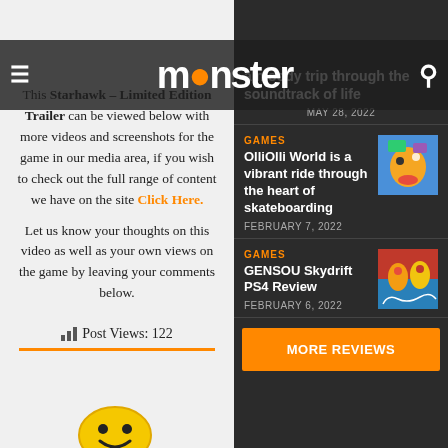monster
This Starhawk – Limited Edition Trailer can be viewed below with more videos and screenshots for the game in our media area, if you wish to check out the full range of content we have on the site Click Here.
Let us know your thoughts on this video as well as your own views on the game by leaving your comments below.
Post Views: 122
a moody trip through the soundtrack of life
MAY 28, 2022
GAMES
OlliOlli World is a vibrant ride through the heart of skateboarding
FEBRUARY 7, 2022
GAMES
GENSOU Skydrift PS4 Review
FEBRUARY 6, 2022
MORE REVIEWS